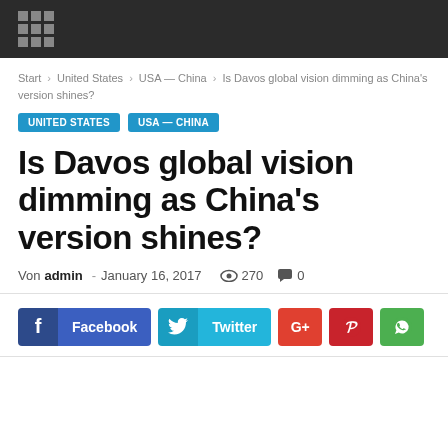[grid logo / navigation bar]
Start › United States › USA — China › Is Davos global vision dimming as China's version shines?
UNITED STATES   USA — CHINA
Is Davos global vision dimming as China's version shines?
Von admin - January 16, 2017  👁 270  💬 0
[Figure (other): Social sharing buttons: Facebook, Twitter, Google+, Pinterest, WhatsApp]